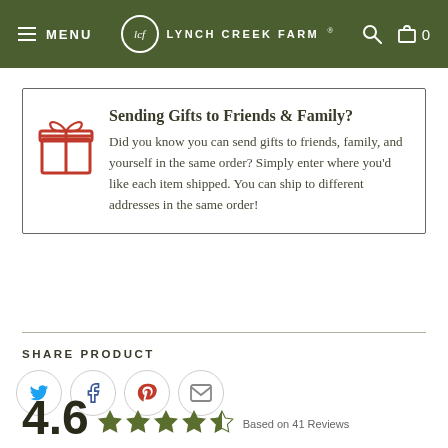MENU | lcf LYNCH CREEK FARM | [search] [cart] 0
Sending Gifts to Friends & Family? Did you know you can send gifts to friends, family, and yourself in the same order? Simply enter where you'd like each item shipped. You can ship to different addresses in the same order!
SHARE PRODUCT
[Figure (infographic): Share icons: Twitter (bird, blue), Facebook (f, dark blue), Pinterest (P, red), Email (envelope, gray) in circular borders]
4.6 ★★★★★ Based on 41 Reviews